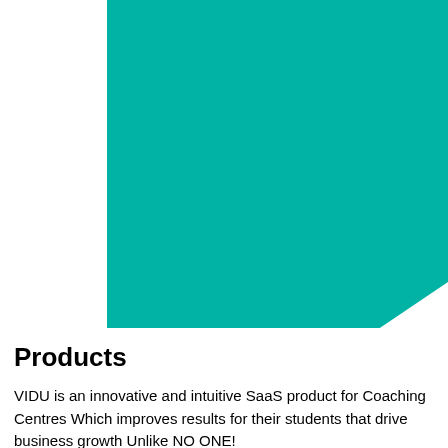[Figure (illustration): Large teal/green-blue rectangular block occupying the upper right portion of the page, with a notched lower-right corner creating a stepped edge effect.]
Products
VIDU is an innovative and intuitive SaaS product for Coaching Centres Which improves results for their students that drive business growth Unlike NO ONE!